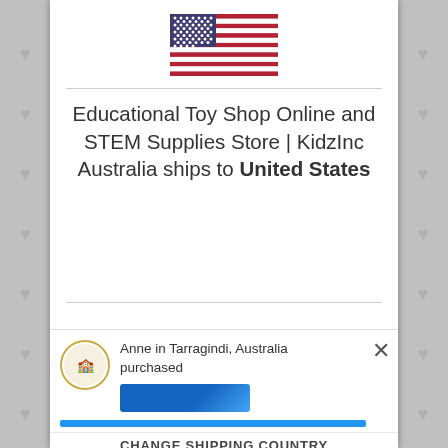[Figure (illustration): United States flag emoji/icon]
Educational Toy Shop Online and STEM Supplies Store | KidzInc Australia ships to United States
Shop in AUD $
Get shipping options for United States
Anne in Tarragindi, Australia purchased
CHANGE SHIPPING COUNTRY